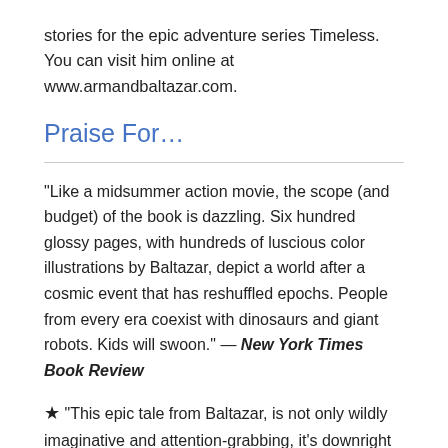stories for the epic adventure series Timeless. You can visit him online at www.armandbaltazar.com.
Praise For…
“Like a midsummer action movie, the scope (and budget) of the book is dazzling. Six hundred glossy pages, with hundreds of luscious color illustrations by Baltazar, depict a world after a cosmic event that has reshuffled epochs. People from every era coexist with dinosaurs and giant robots. Kids will swoon.” — New York Times Book Review
★ “This epic tale from Baltazar, is not only wildly imaginative and attention-grabbing, it’s downright beautiful: more than 150 full-color photorealistic art pieces bring the characters and setting to life. A